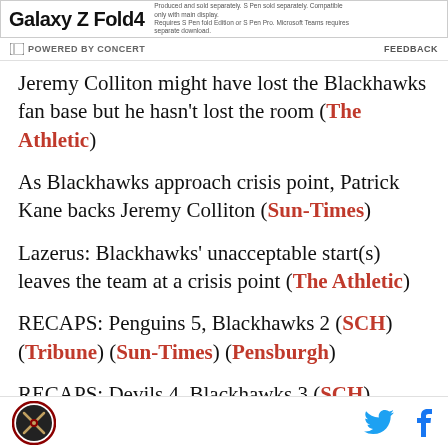[Figure (other): Samsung Galaxy Z Fold4 advertisement banner with product name and small print text]
POWERED BY CONCERT   FEEDBACK
Jeremy Colliton might have lost the Blackhawks fan base but he hasn't lost the room (The Athletic)
As Blackhawks approach crisis point, Patrick Kane backs Jeremy Colliton (Sun-Times)
Lazerus: Blackhawks' unacceptable start(s) leaves the team at a crisis point (The Athletic)
RECAPS: Penguins 5, Blackhawks 2 (SCH) (Tribune) (Sun-Times) (Pensburgh)
RECAPS: Devils 4, Blackhawks 3 (SCH) (Tribune)
[Figure (logo): Site logo circular emblem with crossed items, Twitter bird icon, Facebook f icon in footer]